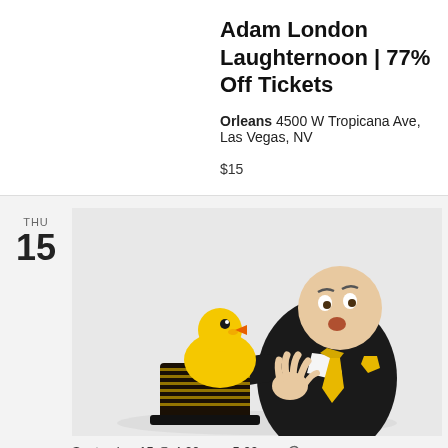Adam London Laughternoon | 77% Off Tickets
Orleans 4500 W Tropicana Ave, Las Vegas, NV
$15
THU
15
[Figure (photo): Comedian Adam London in a black suit holding a magician's top hat with a large rubber duck inside, gesturing with his right hand.]
September 15 @ 4:00 pm - 5:00 pm  ↻
Adam London Laughternoon | 77%